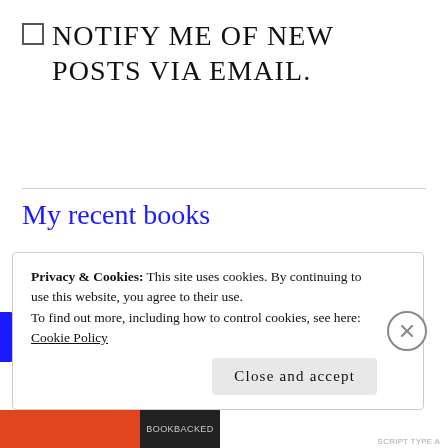☐ NOTIFY ME OF NEW POSTS VIA EMAIL.
My recent books
My videos on TypeScript
Privacy & Cookies: This site uses cookies. By continuing to use this website, you agree to their use.
To find out more, including how to control cookies, see here:
Cookie Policy
Close and accept